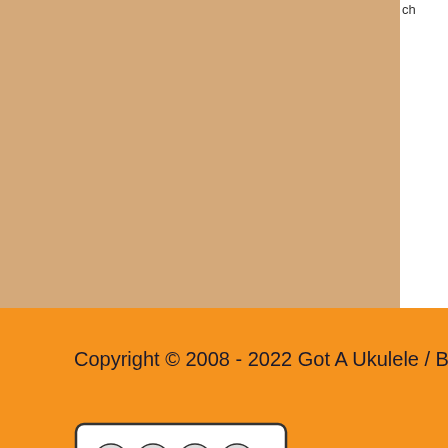[Figure (other): Tan/beige banner area at top of page, with white box in upper right corner]
Copyright © 2008 - 2022 Got A Ukulele / Barry Maz - All Ri
[Figure (logo): Creative Commons BY NC ND license logo]
PLEASE READ BEFORE STEALING! I DO NOT ALLOW CONTENT FROM THIS SITE WITHOUT PERMISSION
Attribution-NonCommercial-NoDerivatives 4.0 Internatio
Bass Guitar Tab
Peavey Series 400 Bass
Search for